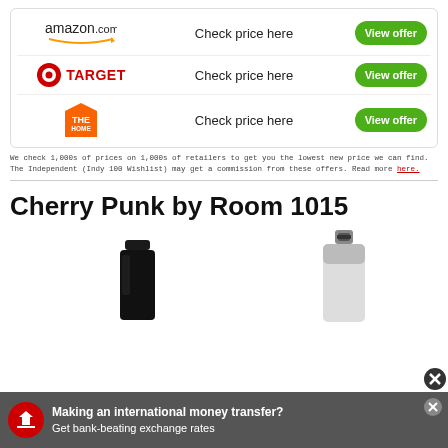| Store | Price | Action |
| --- | --- | --- |
| amazon.com | Check price here | View offer |
| TARGET | Check price here | View offer |
| The Home Depot | Check price here | View offer |
We check 1,000s of prices on 1,000s of retailers to get you the lowest new price we can find. The Independent (Indy 100 Wishlist) may get a commission from these offers. Read more here.
Cherry Punk by Room 1015
[Figure (photo): Product bottles for Cherry Punk by Room 1015 - a dark bottle and a white/silver bottle]
[Figure (infographic): Ad banner: Making an international money transfer? Get bank-beating exchange rates]